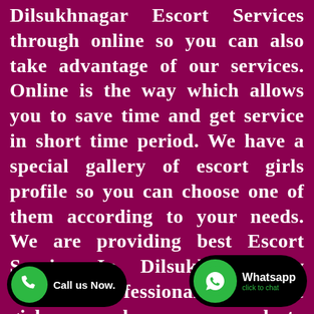Dilsukhnagar Escort Services through online so you can also take advantage of our services. Online is the way which allows you to save time and get service in short time period. We have a special gallery of escort girls profile so you can choose one of them according to your needs. We are providing best Escort Service In Dilsukhnagar by beautiful professional girls. These girls are always prepared to provide service as per the clients you just need to get in touch with us after that all
[Figure (infographic): Call us Now button with green phone icon on black rounded rectangle background, and Whatsapp click to chat button with green WhatsApp icon on black rounded rectangle background]